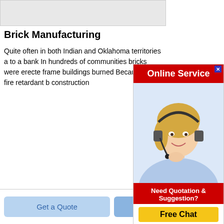[Figure (screenshot): Gray banner/header image at the top of the page]
Brick Manufacturing
Quite often in both Indian and Oklahoma territories a to a bank In hundreds of communities bricks were erecte frame buildings burned Because it was fire retardant b construction
[Figure (infographic): Red Online Service ad box with a woman wearing a headset, 'Need Quotation & Suggestion?' text, and a yellow 'Free Chat' button]
[Figure (photo): Gray powder/cement pile heap on white background]
Get a Quote
Chat Now